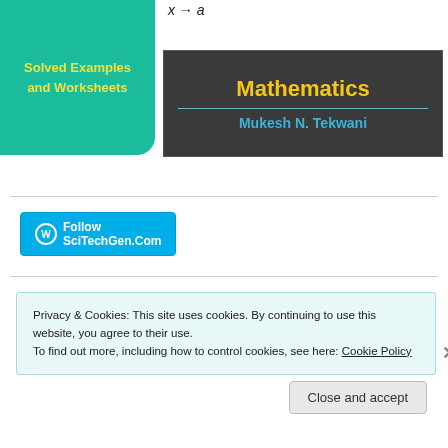[Figure (illustration): Book cover: teal box with 'Solved Examples and Worksheets' in yellow, dark gray box with 'Mathematics' in yellow and 'Mukesh N. Tekwani' in blue]
Follow SciTechGen.Com
Privacy & Cookies: This site uses cookies. By continuing to use this website, you agree to their use.
To find out more, including how to control cookies, see here: Cookie Policy
Close and accept